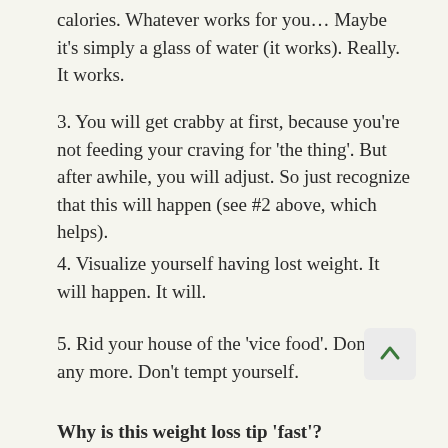calories. Whatever works for you… Maybe it's simply a glass of water (it works). Really. It works.
3. You will get crabby at first, because you're not feeding your craving for 'the thing'. But after awhile, you will adjust. So just recognize that this will happen (see #2 above, which helps).
4. Visualize yourself having lost weight. It will happen. It will.
5. Rid your house of the 'vice food'. Don't buy any more. Don't tempt yourself.
Why is this weight loss tip 'fast'?